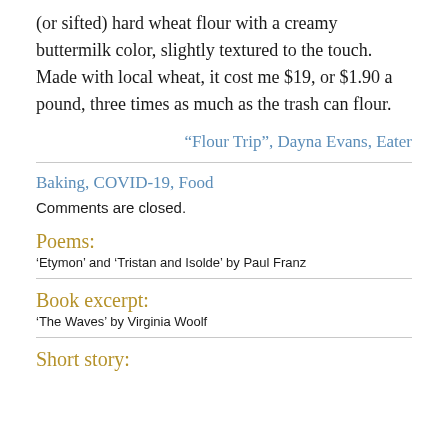(or sifted) hard wheat flour with a creamy buttermilk color, slightly textured to the touch. Made with local wheat, it cost me $19, or $1.90 a pound, three times as much as the trash can flour.
“Flour Trip”, Dayna Evans, Eater
Baking, COVID-19, Food
Comments are closed.
Poems:
‘Etymon’ and ‘Tristan and Isolde’ by Paul Franz
Book excerpt:
‘The Waves’ by Virginia Woolf
Short story: